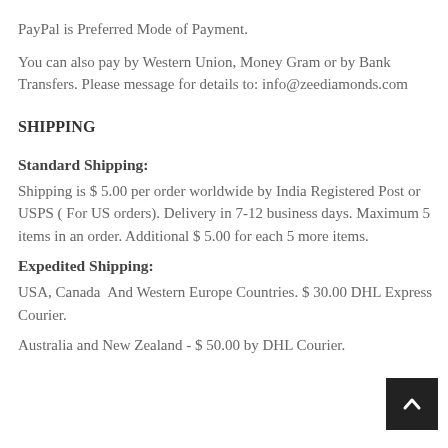PayPal is Preferred Mode of Payment.
You can also pay by Western Union, Money Gram or by Bank Transfers. Please message for details to: info@zeediamonds.com
SHIPPING
Standard Shipping:
Shipping is $ 5.00 per order worldwide by India Registered Post or USPS ( For US orders). Delivery in 7-12 business days. Maximum 5 items in an order. Additional $ 5.00 for each 5 more items.
Expedited Shipping:
USA, Canada  And Western Europe Countries. $ 30.00 DHL Express Courier.
Australia and New Zealand - $ 50.00 by DHL Courier.